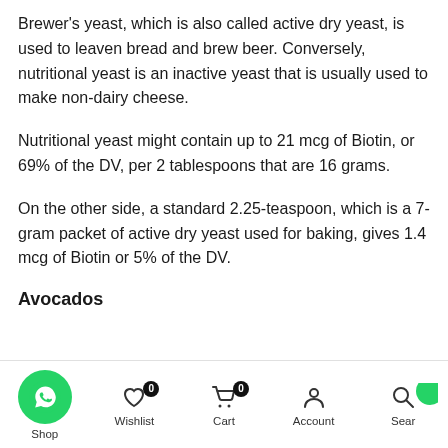Brewer's yeast, which is also called active dry yeast, is used to leaven bread and brew beer. Conversely, nutritional yeast is an inactive yeast that is usually used to make non-dairy cheese.
Nutritional yeast might contain up to 21 mcg of Biotin, or 69% of the DV, per 2 tablespoons that are 16 grams.
On the other side, a standard 2.25-teaspoon, which is a 7-gram packet of active dry yeast used for baking, gives 1.4 mcg of Biotin or 5% of the DV.
Avocados
Shop | Wishlist 0 | Cart 0 | Account | Search